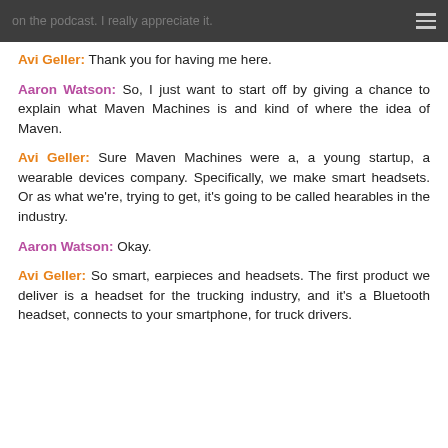on the podcast. I really appreciate it.
Avi Geller: Thank you for having me here.
Aaron Watson: So, I just want to start off by giving a chance to explain what Maven Machines is and kind of where the idea of Maven.
Avi Geller: Sure Maven Machines were a, a young startup, a wearable devices company. Specifically, we make smart headsets. Or as what we're, trying to get, it's going to be called hearables in the industry.
Aaron Watson: Okay.
Avi Geller: So smart, earpieces and headsets. The first product we deliver is a headset for the trucking industry, and it's a Bluetooth headset, connects to your smartphone, for truck drivers.